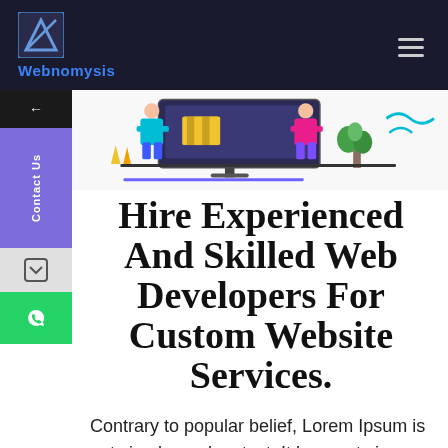Webnomysis
[Figure (illustration): Website design hero illustration showing people working with a large computer monitor, colorful figures, decorations]
Hire Experienced And Skilled Web Developers For Custom Website Services.
Contrary to popular belief, Lorem Ipsum is not simply random text. It has roots in a piece